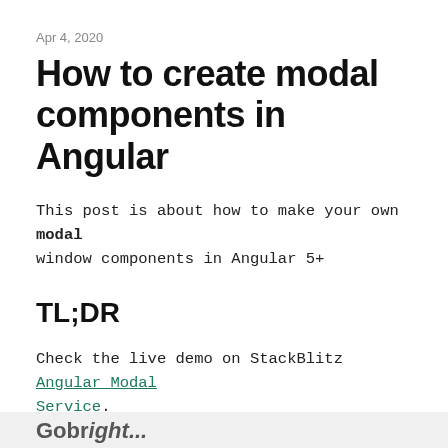Apr 4, 2020
How to create modal components in Angular
This post is about how to make your own modal window components in Angular 5+
TL;DR
Check the live demo on StackBlitz Angular Modal Service.
What is a modal window
In user interface design, a modal window is a